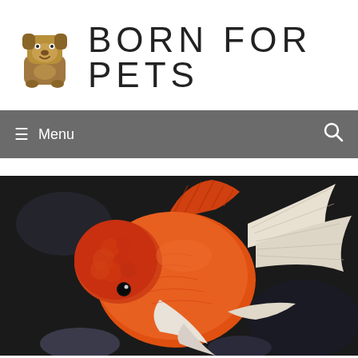[Figure (logo): Born For Pets website logo featuring a cartoon dog icon and the text BORN FOR PETS in uppercase narrow font]
≡ Menu
[Figure (photo): Close-up photo of an orange and white fancy goldfish (Oranda or similar variety) with a prominent head wen, flowing fins, swimming against a dark background]